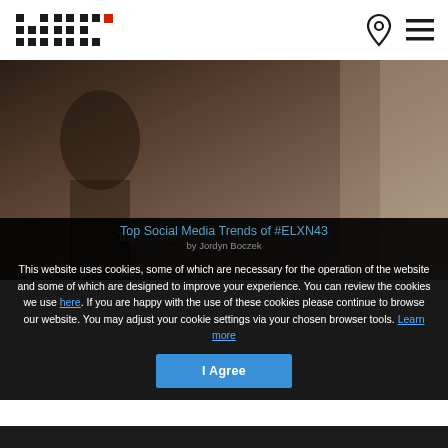[Figure (logo): HKK pixel/block logo in black and red on white header bar]
[Figure (illustration): Navigation icons: location pin and hamburger menu on white header]
[Figure (photo): Blurred dark background photo showing silhouette of person]
Top Social Media Trends of #ELXN43
by Jordyn Boczek
This website uses cookies, some of which are necessary for the operation of the website and some of which are designed to improve your experience. You can review the cookies we use here. If you are happy with the use of these cookies please continue to browse our website. You may adjust your cookie settings via your chosen browser tools. Learn more
I Agree